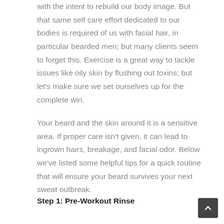with the intent to rebuild our body image. But that same self care effort dedicated to our bodies is required of us with facial hair, in particular bearded men; but many clients seem to forget this. Exercise is a great way to tackle issues like oily skin by flushing out toxins; but let's make sure we set ourselves up for the complete win.
Your beard and the skin around it is a sensitive area. If proper care isn't given, it can lead to ingrown hairs, breakage, and facial odor. Below we've listed some helpful tips for a quick routine that will ensure your beard survives your next sweat outbreak.
Step 1: Pre-Workout Rinse